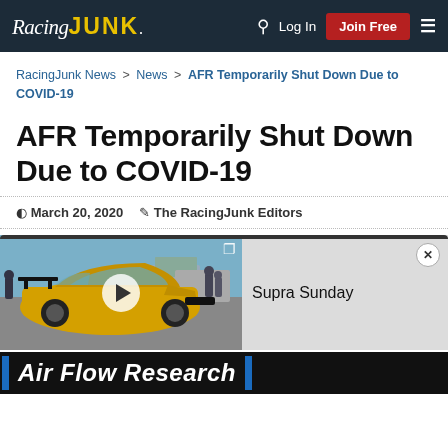RacingJUNK. | Log In | Join Free
RacingJunk News > News > AFR Temporarily Shut Down Due to COVID-19
AFR Temporarily Shut Down Due to COVID-19
March 20, 2020   The RacingJunk Editors
[Figure (screenshot): Video player showing a yellow sports car (Toyota Supra) at a car show, with a play button overlay. A sidebar shows 'Supra Sunday' title on grey background with close button.]
[Figure (photo): Partial banner showing 'Air Flow Research' in white italic text on dark background with blue vertical bars.]